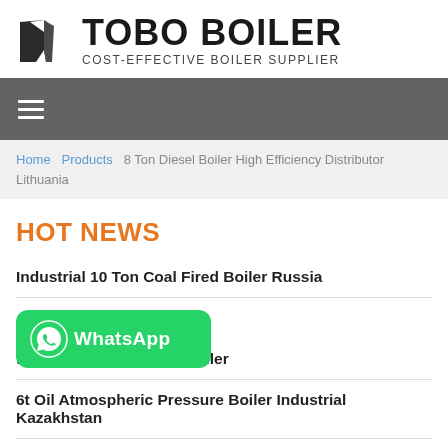[Figure (logo): Tobo Boiler logo with geometric icon on left and bold text TOBO BOILER with subtitle COST-EFFECTIVE BOILER SUPPLIER]
[Figure (infographic): Dark grey navigation bar with hamburger menu icon (three horizontal lines)]
Home   Products   8 Ton Diesel Boiler High Efficiency Distributor Lithuania
HOT NEWS
Industrial 10 Ton Coal Fired Boiler Russia
fired Horizontal Steam Boiler
6t Oil Atmospheric Pressure Boiler Industrial Kazakhstan
[Figure (logo): WhatsApp button with green background, phone icon, and WhatsApp text]